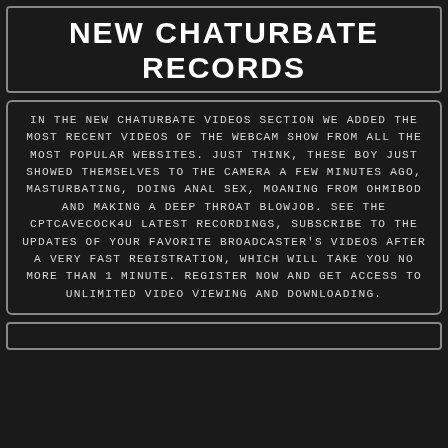NEW CHATURBATE RECORDS
IN THE NEW CHATURBATE VIDEOS SECTION WE ADDED THE MOST RECENT VIDEOS OF THE WEBCAM SHOW FROM ALL THE MOST POPULAR WEBSITES. JUST THINK, THESE BOY JUST SHOWED THEMSELVES TO THE CAMERA A FEW MINUTES AGO, MASTURBATING, DOING ANAL SEX, MOANING FROM OHMIBOD AND MAKING A DEEP THROAT BLOWJOB. SEE THE CPTCAVECOCK4U LATEST RECORDINGS, SUBSCRIBE TO THE UPDATES OF YOUR FAVORITE BROADCASTER'S VIDEOS AFTER A VERY FAST REGISTRATION, WHICH WILL TAKE YOU NO MORE THAN 1 MINUTE. REGISTER NOW AND GET ACCESS TO UNLIMITED VIDEO VIEWING AND DOWNLOADING.